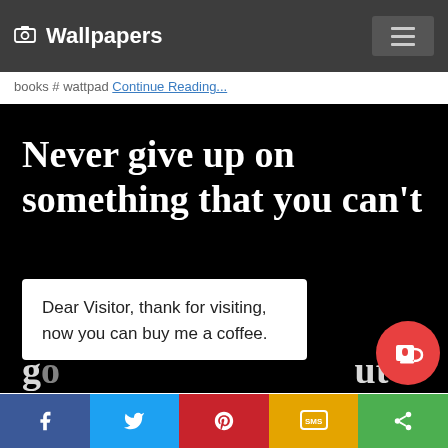📷 Wallpapers
books # wattpad Continue Reading...
[Figure (illustration): Black background motivational quote wallpaper showing text 'Never give up on something that you can't go a day without' in white serif bold font, partially visible]
Dear Visitor, thank for visiting, now you can buy me a coffee.